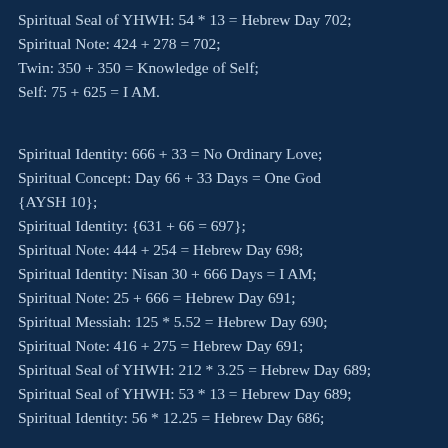Spiritual Seal of YHWH: 54 * 13 = Hebrew Day 702; Spiritual Note: 424 + 278 = 702; Twin: 350 + 350 = Knowledge of Self; Self: 75 + 625 = I AM.
Spiritual Identity: 666 + 33 = No Ordinary Love; Spiritual Concept: Day 66 + 33 Days = One God {AYSH 10}; Spiritual Identity: {631 + 66 = 697}; Spiritual Note: 444 + 254 = Hebrew Day 698; Spiritual Identity: Nisan 30 + 666 Days = I AM; Spiritual Note: 25 + 666 = Hebrew Day 691; Spiritual Messiah: 125 * 5.52 = Hebrew Day 690; Spiritual Note: 416 + 275 = Hebrew Day 691; Spiritual Seal of YHWH: 212 * 3.25 = Hebrew Day 689; Spiritual Seal of YHWH: 53 * 13 = Hebrew Day 689; Spiritual Identity: 56 * 12.25 = Hebrew Day 686;